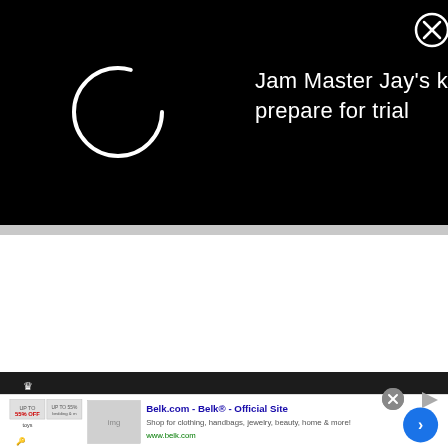[Figure (screenshot): Black notification overlay showing a loading spinner circle and text 'Jam Master Jay's killers prepare for trial' with an X close button in the top right corner]
[Figure (screenshot): YouTube video card header showing channel logo (crown/R emblem), title 'How to Get the V-Cut Muscle: AKA ...' and three-dot menu icon on dark background]
[Figure (screenshot): Web advertisement for Belk.com showing 'Belk® - Official Site' with description 'Shop for clothing, handbags, jewelry, beauty, home & more!' and URL www.belk.com, with thumbnail images and a blue arrow button]